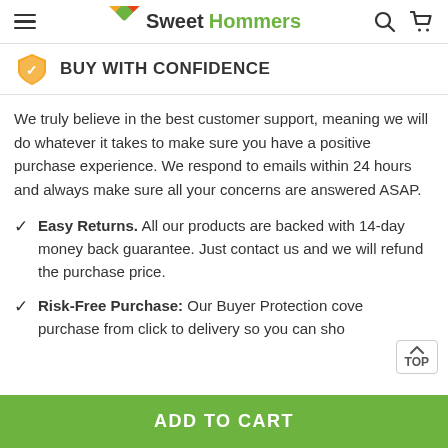Sweet Hommers
BUY WITH CONFIDENCE
We truly believe in the best customer support, meaning we will do whatever it takes to make sure you have a positive purchase experience. We respond to emails within 24 hours and always make sure all your concerns are answered ASAP.
Easy Returns. All our products are backed with 14-day money back guarantee. Just contact us and we will refund the purchase price.
Risk-Free Purchase: Our Buyer Protection covers your purchase from click to delivery so you can shop...